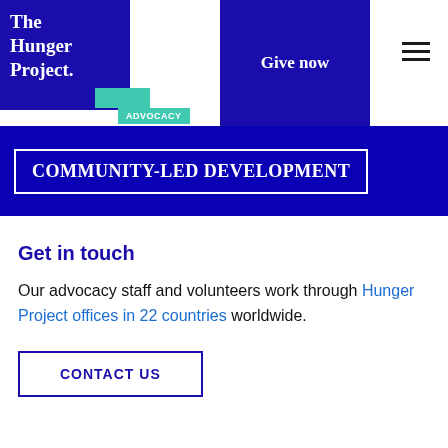[Figure (logo): The Hunger Project logo: dark blue square with white serif text 'The Hunger Project.' and teal green accent. Navigation bar with 'Give now' button in dark blue box and hamburger menu icon.]
COMMUNITY-LED DEVELOPMENT
Get in touch
Our advocacy staff and volunteers work through Hunger Project offices in 22 countries worldwide.
CONTACT US